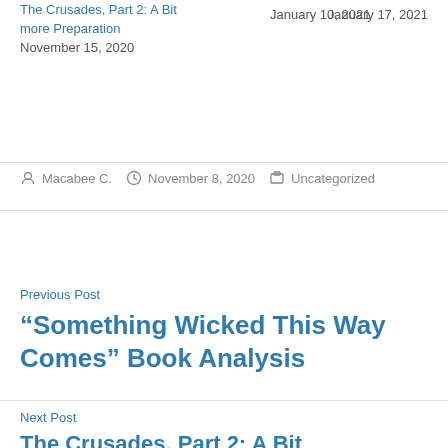The Crusades, Part 2: A Bit more Preparation
November 15, 2020
Post by Macabee C. | November 8, 2020 | Uncategorized
Previous Post
“Something Wicked This Way Comes” Book Analysis
Next Post
The Crusades, Part 2: A Bit…